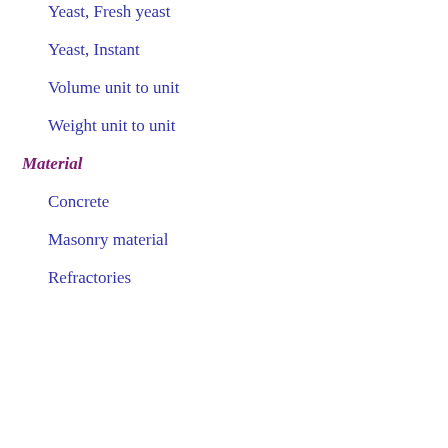Yeast, Fresh yeast
Yeast, Instant
Volume unit to unit
Weight unit to unit
Material
Concrete
Masonry material
Refractories